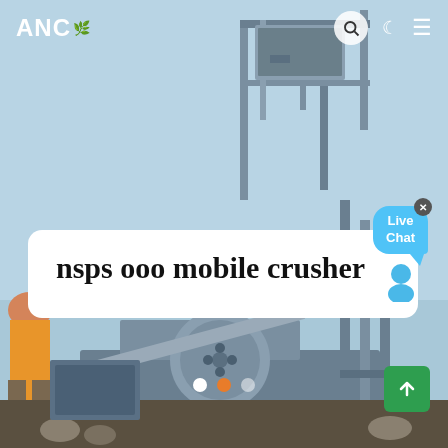[Figure (photo): Industrial mobile crusher machinery with steel frame structure, conveyor belts with purple pipes, a vibratory screen on top, photographed outdoors against a light blue sky. A worker in orange is partially visible on the left side.]
ANC
nsps ooo mobile crusher
[Figure (infographic): Live Chat speech bubble widget with a close button (x) and a person silhouette icon in blue tones]